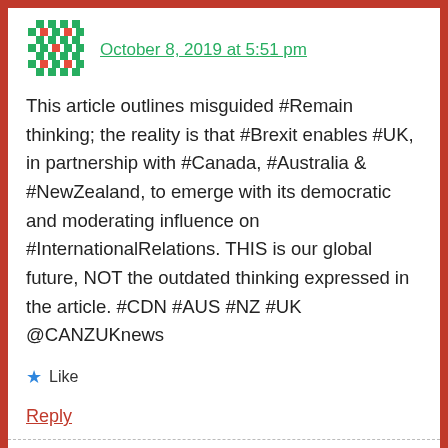[Figure (logo): Green and red decorative pixel/mosaic avatar icon]
October 8, 2019 at 5:51 pm
This article outlines misguided #Remain thinking; the reality is that #Brexit enables #UK, in partnership with #Canada, #Australia & #NewZealand, to emerge with its democratic and moderating influence on #InternationalRelations. THIS is our global future, NOT the outdated thinking expressed in the article. #CDN #AUS #NZ #UK @CANZUKnews
Like
Reply